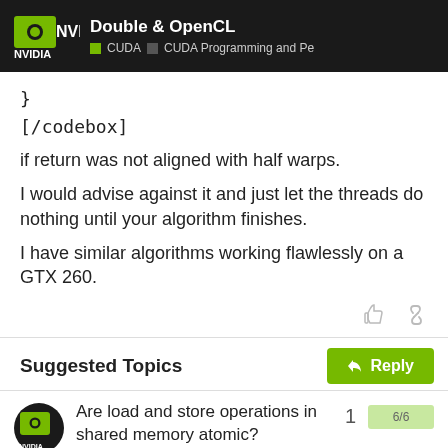Double & OpenCL — CUDA ■ CUDA Programming and Pe
}
[/codebox]
if return was not aligned with half warps.
I would advise against it and just let the threads do nothing until your algorithm finishes.
I have similar algorithms working flawlessly on a GTX 260.
Suggested Topics
Are load and store operations in shared memory atomic?